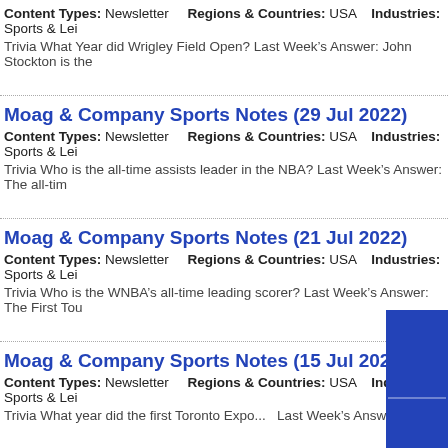Content Types: Newsletter   Regions & Countries: USA   Industries: Sports & Lei
Trivia What Year did Wrigley Field Open? Last Week's Answer: John Stockton is the
Moag & Company Sports Notes (29 Jul 2022)
Content Types: Newsletter   Regions & Countries: USA   Industries: Sports & Lei
Trivia Who is the all-time assists leader in the NBA? Last Week's Answer: The all-tim
Moag & Company Sports Notes (21 Jul 2022)
Content Types: Newsletter   Regions & Countries: USA   Industries: Sports & Lei
Trivia Who is the WNBA's all-time leading scorer? Last Week's Answer: The First Tou
Moag & Company Sports Notes (15 Jul 2022)
Content Types: Newsletter   Regions & Countries: USA   Industries: Sports & Lei
Trivia What year did the first Toronto Expo...  Last Week's Answer: 1880...